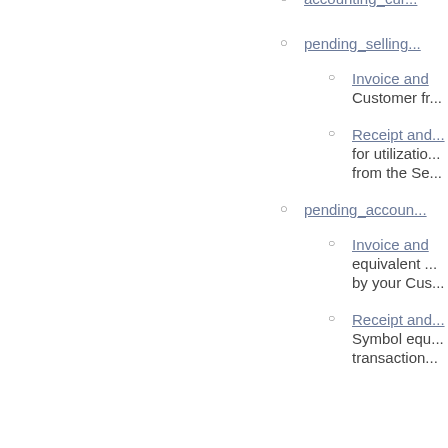accounting_cur...
pending_selling...
Invoice and... Customer fr...
Receipt and... for utilization... from the Se...
pending_accoun...
Invoice and... equivalent... by your Cus...
Receipt and... Symbol equ... transaction...